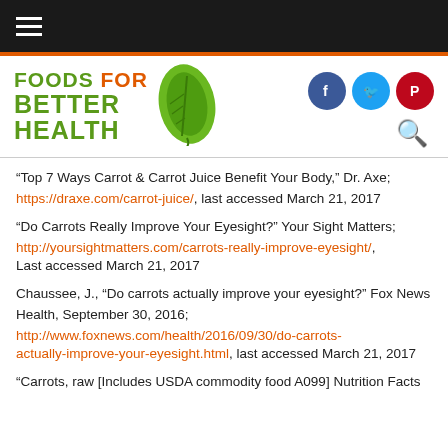Foods For Better Health — navigation bar with hamburger menu
[Figure (logo): Foods For Better Health logo with green leaf, Facebook, Twitter, Pinterest social icons, and search icon]
“Top 7 Ways Carrot & Carrot Juice Benefit Your Body,” Dr. Axe; https://draxe.com/carrot-juice/, last accessed March 21, 2017
“Do Carrots Really Improve Your Eyesight?” Your Sight Matters; http://yoursightmatters.com/carrots-really-improve-eyesight/, Last accessed March 21, 2017
Chaussee, J., “Do carrots actually improve your eyesight?” Fox News Health, September 30, 2016; http://www.foxnews.com/health/2016/09/30/do-carrots-actually-improve-your-eyesight.html, last accessed March 21, 2017
“Carrots, raw [Includes USDA commodity food A099] Nutrition Facts